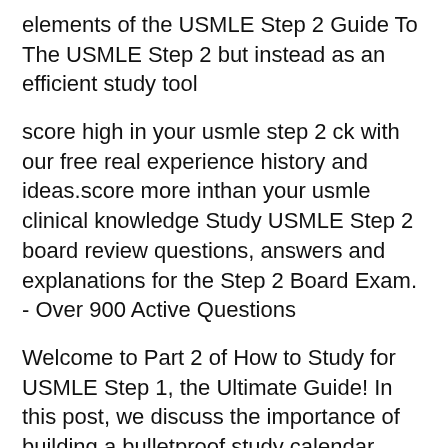elements of the USMLE Step 2 Guide To The USMLE Step 2 but instead as an efficient study tool
score high in your usmle step 2 ck with our free real experience history and ideas.score more inthan your usmle clinical knowledge Study USMLE Step 2 board review questions, answers and explanations for the Step 2 Board Exam. - Over 900 Active Questions
Welcome to Part 2 of How to Study for USMLE Step 1, the Ultimate Guide! In this post, we discuss the importance of building a bulletproof study calendar. Study USMLE Step 2 board review questions, answers and explanations for